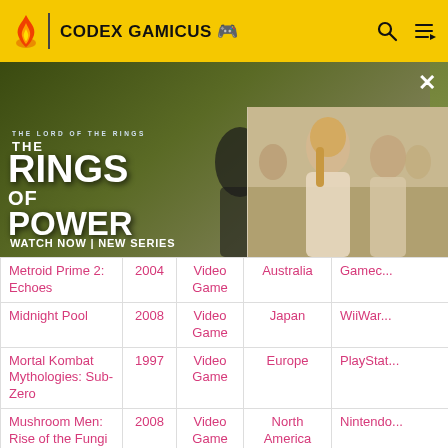CODEX GAMICUS
[Figure (photo): Advertisement for Amazon Prime Video: The Lord of the Rings: The Rings of Power. Shows two fantasy characters on left side and a blonde woman with others on right side. Text reads WATCH NOW | NEW SERIES.]
| Title | Year | Type | Region | Platform |
| --- | --- | --- | --- | --- |
| Metroid Prime 2: Echoes | 2004 | Video Game | Australia | Gamec... |
| Midnight Pool | 2008 | Video Game | Japan | WiiWar... |
| Mortal Kombat Mythologies: Sub-Zero | 1997 | Video Game | Europe | PlayStat... |
| Mushroom Men: Rise of the Fungi | 2008 | Video Game | North America | Nintendo... |
| Nano Boy The | 2008 | Video | North | Nin... |